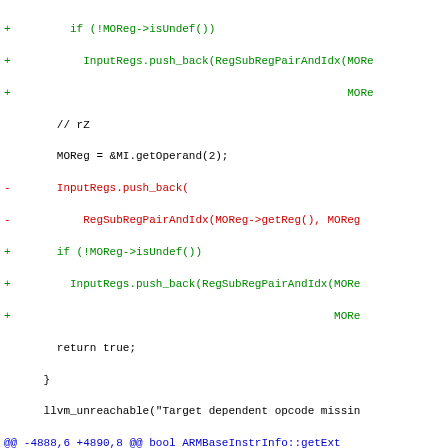[Figure (screenshot): Diff/patch view of C++ source code showing changes to ARM backend instruction info functions, with green added lines (+), red removed lines (-), blue hunk headers (@@), and black context lines.]